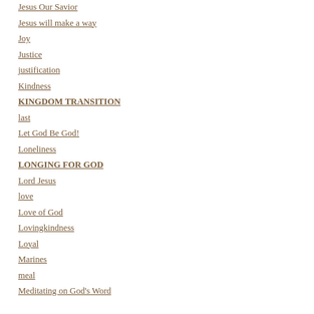Jesus Our Savior
Jesus will make a way
Joy
Justice
justification
Kindness
KINGDOM TRANSITION
last
Let God Be God!
Loneliness
LONGING FOR GOD
Lord Jesus
love
Love of God
Lovingkindness
Loyal
Marines
meal
Meditating on God's Word